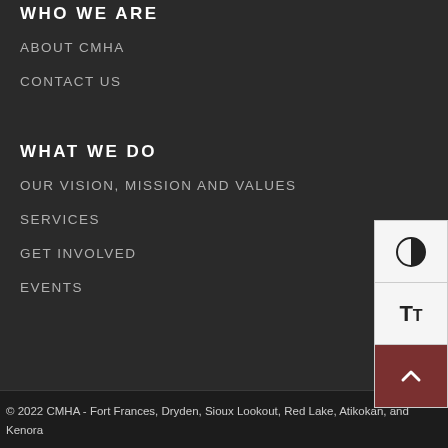WHO WE ARE
ABOUT CMHA
CONTACT US
WHAT WE DO
OUR VISION, MISSION AND VALUES
SERVICES
GET INVOLVED
EVENTS
[Figure (other): Accessibility widget panel with contrast toggle button (half-circle icon), text size toggle button (TT icon), and a dark red scroll-to-top button with an upward chevron arrow]
© 2022 CMHA - Fort Frances, Dryden, Sioux Lookout, Red Lake, Atikokan, and Kenora